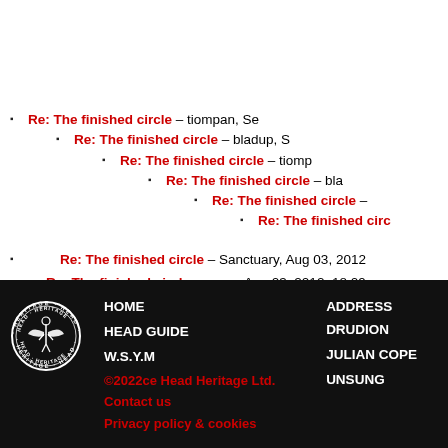Re: The finished circle – tiompan, Se
Re: The finished circle – bladup, S
Re: The finished circle – tiomp
Re: The finished circle – bla
Re: The finished circle –
Re: The finished circ
Re: The finished circle – Sanctuary, Aug 03, 2012
Re: The finished circle – moss, Aug 03, 2012, 18:09
The Modern Antiquarian Forum Index
HOME | HEAD GUIDE | W.S.Y.M | ADDRESS DRUDION | JULIAN COPE | UNSUNG | ©2022ce Head Heritage Ltd. Contact us | Privacy policy & cookies